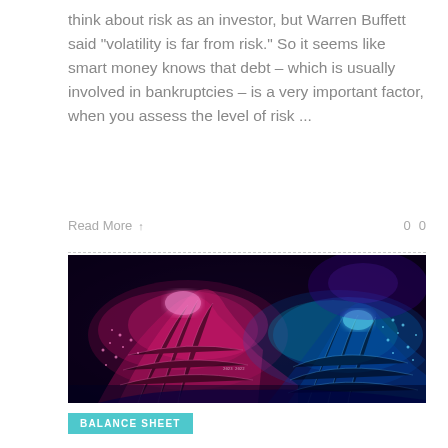think about risk as an investor, but Warren Buffett said “volatility is far from risk.” So it seems like smart money knows that debt – which is usually involved in bankruptcies – is a very important factor, when you assess the level of risk ...
Read More →   0  0
[Figure (illustration): Abstract digital art showing colorful glowing wave-like data visualizations in pink/magenta and blue/cyan colors against a dark background, resembling a futuristic financial data landscape.]
BALANCE SHEET